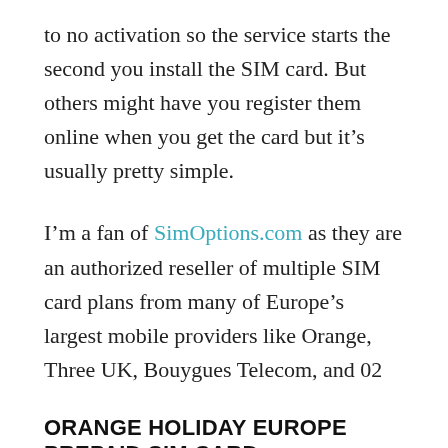to no activation so the service starts the second you install the SIM card. But others might have you register them online when you get the card but it's usually pretty simple.
I'm a fan of SimOptions.com as they are an authorized reseller of multiple SIM card plans from many of Europe's largest mobile providers like Orange, Three UK, Bouygues Telecom, and 02
ORANGE HOLIDAY EUROPE PREPAID SIM CARD
The Orange Holiday Europe Prepaid SIM Card is probably the best all-around option for SIM cards that can be purchased abroad because it offers a